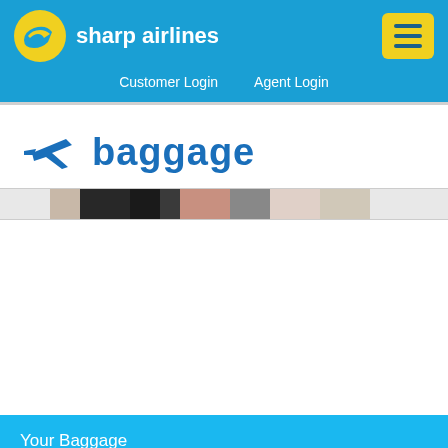sharp airlines | Customer Login  Agent Login
baggage
[Figure (photo): Horizontal image strip showing people with luggage/baggage]
Your Baggage
International Baggage